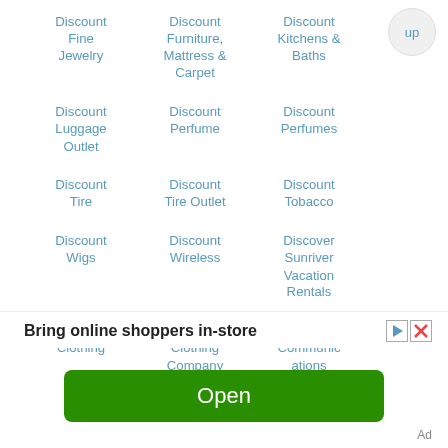Discount Fine Jewelry
Discount Furniture, Mattress & Carpet
Discount Kitchens & Baths
Discount Luggage Outlet
Discount Perfume
Discount Perfumes
Discount Tire
Discount Tire Outlet
Discount Tobacco
Discount Wigs
Discount Wireless
Discover Sunriver Vacation Rentals
Discovery Clothing
Discovery Clothing Company
Discovery Communications
Bring online shoppers in-store
Open
Ad